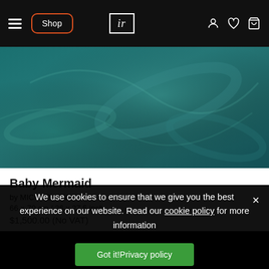Shop | ir (logo) | navigation icons
[Figure (photo): Cropped view of a dark teal/green artwork depicting swirling abstract underwater forms, likely a painting detail.]
Baby Mermaid
by MICHAEL PARKES
66 × 70 cm / 26 x 27.5 inch
$1,500.00 (No VAT)
We use cookies to ensure that we give you the best experience on our website. Read our cookie policy for more information
Got it!Privacy policy